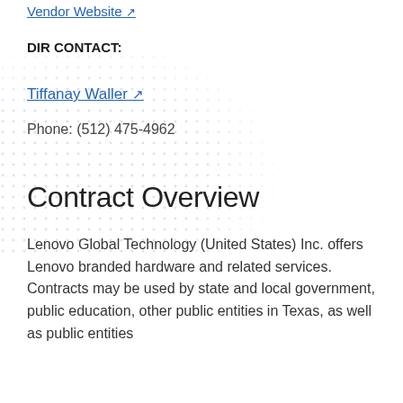Vendor Website ↗
DIR CONTACT:
Tiffanay Waller ↗
Phone: (512) 475-4962
Contract Overview
Lenovo Global Technology (United States) Inc. offers Lenovo branded hardware and related services. Contracts may be used by state and local government, public education, other public entities in Texas, as well as public entities